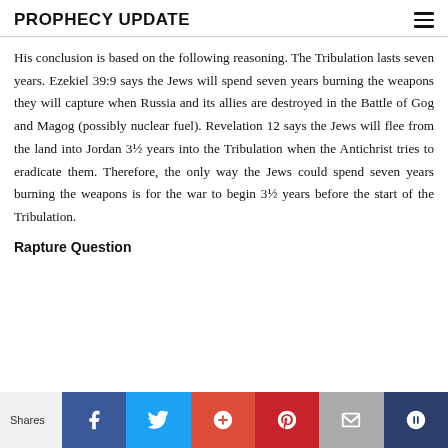PROPHECY UPDATE
His conclusion is based on the following reasoning. The Tribulation lasts seven years. Ezekiel 39:9 says the Jews will spend seven years burning the weapons they will capture when Russia and its allies are destroyed in the Battle of Gog and Magog (possibly nuclear fuel). Revelation 12 says the Jews will flee from the land into Jordan 3½ years into the Tribulation when the Antichrist tries to eradicate them. Therefore, the only way the Jews could spend seven years burning the weapons is for the war to begin 3½ years before the start of the Tribulation.
Rapture Question